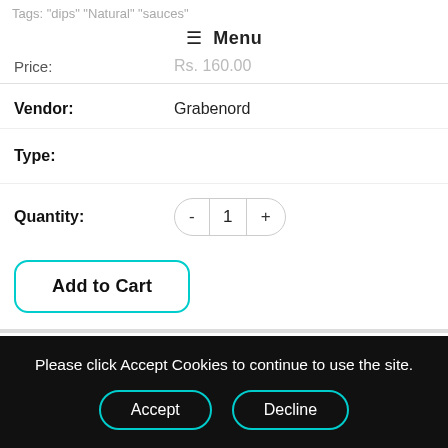Tags: dips Natural sauces
≡ Menu
Price: Rs. 160.00
Vendor: Grabenord
Type:
Quantity: - 1 +
Add to Cart
Please click Accept Cookies to continue to use the site.
Accept
Decline